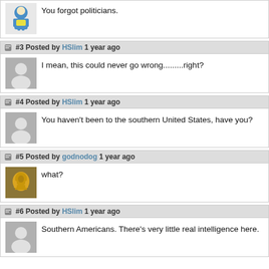You forgot politicians.
#3 Posted by HSlim 1 year ago
I mean, this could never go wrong.........right?
#4 Posted by HSlim 1 year ago
You haven't been to the southern United States, have you?
#5 Posted by godnodog 1 year ago
what?
#6 Posted by HSlim 1 year ago
Southern Americans.  There's very little real intelligence here.